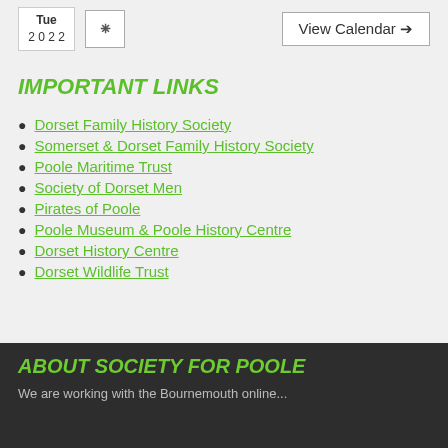[Figure (other): Calendar box showing Tue 2022 and View Calendar button with RSS icon]
IMPORTANT LINKS
Dorset Family History Society
Somerset & Dorset Family History Society
Poole Maritime Trust
Society of Dorset Men
Pirates of Poole
Poole Museum & Poole History Centre
Dorset History Centre
Dorset Wildlife Trust
ABOUT SOCIETY FOR POOLE
We are working with the Bournemouth online...